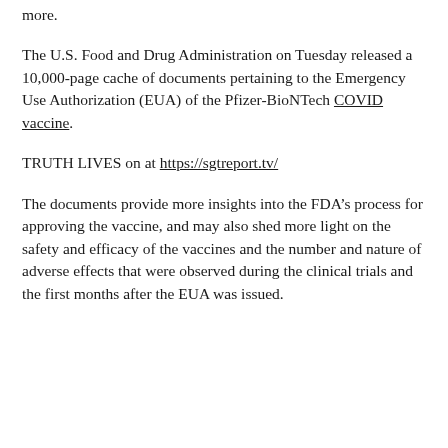more.
The U.S. Food and Drug Administration on Tuesday released a 10,000-page cache of documents pertaining to the Emergency Use Authorization (EUA) of the Pfizer-BioNTech COVID vaccine.
TRUTH LIVES on at https://sgtreport.tv/
The documents provide more insights into the FDA’s process for approving the vaccine, and may also shed more light on the safety and efficacy of the vaccines and the number and nature of adverse effects that were observed during the clinical trials and the first months after the EUA was issued.